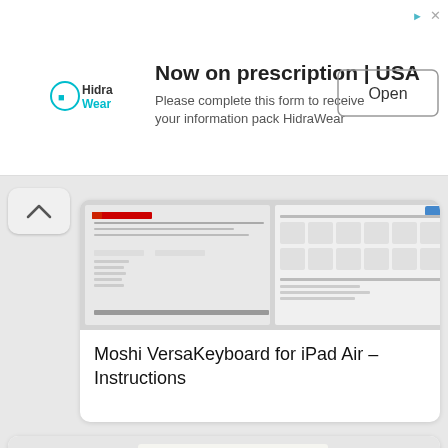[Figure (screenshot): HidraWear advertisement banner with logo, 'Now on prescription | USA' headline, subtitle text, and Open button]
[Figure (screenshot): Screenshot of Moshi VersaKeyboard for iPad Air instruction manual page showing battery life status and package contents sections]
Moshi VersaKeyboard for iPad Air – Instructions
[Figure (photo): Product photo showing Moshi VersaKeyboard case in black, a USB cable, and instruction booklet on a white surface]